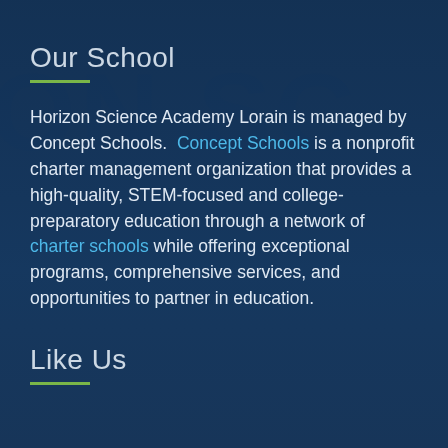[Figure (photo): Background photo of a school building exterior with large dimensional letters partially visible, overlaid with a dark blue semi-transparent layer]
Our School
Horizon Science Academy Lorain is managed by Concept Schools.  Concept Schools is a nonprofit charter management organization that provides a high-quality, STEM-focused and college-preparatory education through a network of charter schools while offering exceptional programs, comprehensive services, and opportunities to partner in education.
Like Us